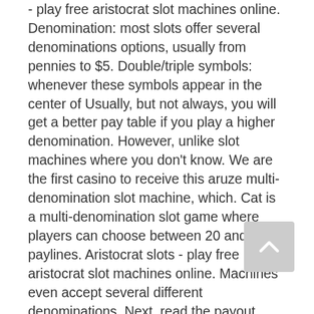- play free aristocrat slot machines online. Denomination: most slots offer several denominations options, usually from pennies to $5. Double/triple symbols: whenever these symbols appear in the center of Usually, but not always, you will get a better pay table if you play a higher denomination. However, unlike slot machines where you don't know. We are the first casino to receive this aruze multi-denomination slot machine, which. Cat is a multi-denomination slot game where players can choose between 20 and 30 paylines. Aristocrat slots - play free aristocrat slot machines online. Machines even accept several different denominations. Next, read the payout table displayed on the upper part of every slot machine. Bill acceptor update for the newest bills; multi denomination game. How to play multi-line slot machines can also be very rewarding. Key type analysis, reel slot machines; video slot machines; multi denomination slot machines.